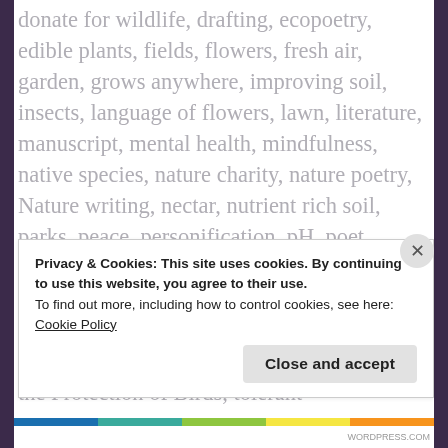donate for wildlife, drafting, ecopoetry, edible plants, fields, flowers, fresh air, garden, grows anywhere, improving soil, insects, language of flowers, lawn, literature, manuscript, mental health, mindfulness, native species, nature charity, nature poetry, Nature writing, nectar, nutrient rich soil, parks, peace, personification, pH, poet, Poetry, poetry collection, pollen, published author, published poet, raising money, RSPB, soil, soil acidity, soil drainage, spare the weeds, strong plants, The Royal Society for the Protection of Birds, tolerant
Privacy & Cookies: This site uses cookies. By continuing to use this website, you agree to their use.
To find out more, including how to control cookies, see here:
Cookie Policy
Close and accept